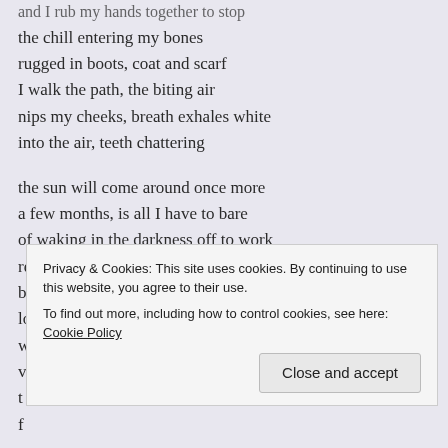and I rub my hands together to stop
the chill entering my bones
rugged in boots, coat and scarf
I walk the path, the biting air
nips my cheeks, breath exhales white
into the air, teeth chattering

the sun will come around once more
a few months, is all I have to bare
of waking in the darkness off to work
returning in the same stilled black
but I know, as sure as every season comes
longer lit days will arrive once more
where smiles are more readily seen on faces
venturing out of doors, ceasing the will
t...
f...
a...
Privacy & Cookies: This site uses cookies. By continuing to use this website, you agree to their use.
To find out more, including how to control cookies, see here: Cookie Policy
Close and accept